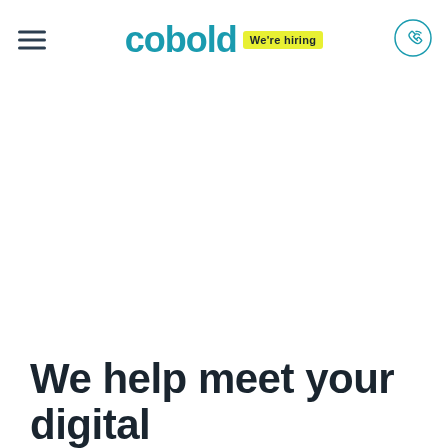cobold We're hiring
We help meet your digital